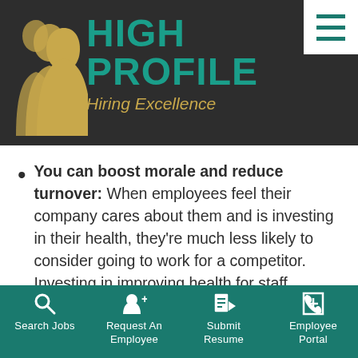[Figure (logo): High Profile Hiring Excellence logo with teal text and gold silhouette figures on dark background header]
You can boost morale and reduce turnover: When employees feel their company cares about them and is investing in their health, they're much less likely to consider going to work for a competitor. Investing in improving health for staff members can make them feel
Search Jobs | Request An Employee | Submit Resume | Employee Portal